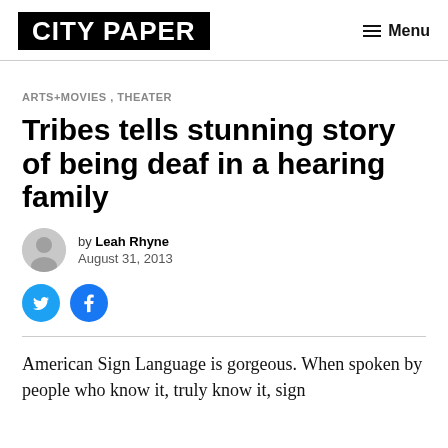CITY PAPER | Menu
ARTS+MOVIES, THEATER
Tribes tells stunning story of being deaf in a hearing family
by Leah Rhyne
August 31, 2013
American Sign Language is gorgeous. When spoken by people who know it, truly know it, sign